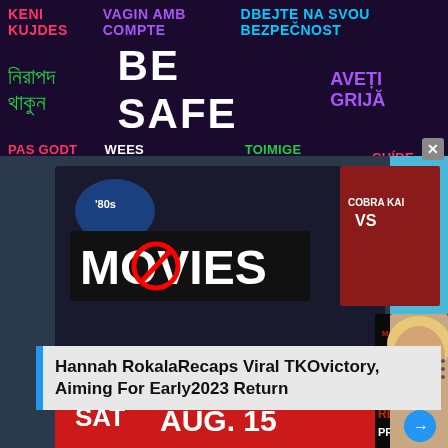[Figure (screenshot): Safety ad banner with multilingual 'BE SAFE' message in multiple languages including Bengali, Albanian, Catalan, Czech, Dutch, Estonian, Finnish, Norwegian, Romanian, Spanish]
[Figure (screenshot): Main image showing MMA event poster with '80s MOVIES' text, 'Cobra Kai VS' poster, 'FIGHTS IN PHI SAT AUG. 15TH' text, and overlaid My MMA News card featuring Hannah Rokala with text 'RECAPS 1st PRO WIN'. A young blonde woman is visible on the right side. Blue navigation arrow button visible.]
Hannah RokalaRecaps Viral TKOvictory, Aiming For Early2023 Return